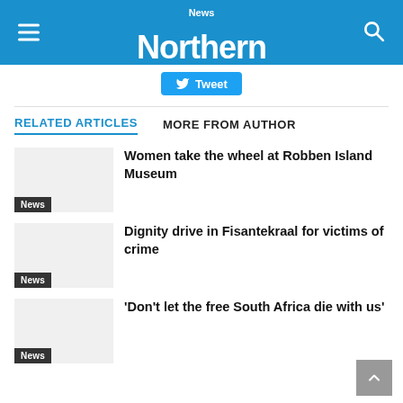Northern News
Tweet
RELATED ARTICLES
MORE FROM AUTHOR
Women take the wheel at Robben Island Museum
News
Dignity drive in Fisantekraal for victims of crime
News
'Don't let the free South Africa die with us'
News